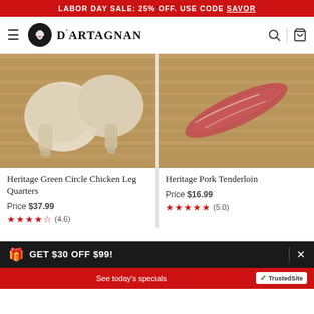LABOR DAY SALE: 25% OFF. USE CODE SAVOR
[Figure (logo): D'Artagnan logo with chef figure in black circle and brand name text]
[Figure (photo): Two raw chicken leg quarters on a wooden cutting board]
[Figure (photo): Raw pork tenderloin on a wooden cutting board]
Heritage Green Circle Chicken Leg Quarters
Price $37.99
★★★★½ (4.6)
Heritage Pork Tenderloin
Price $16.99
★★★★★ (5.0)
GET $30 OFF $99! | See today's specials | TrustedSite